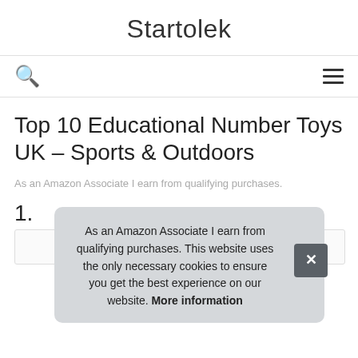Startolek
Top 10 Educational Number Toys UK – Sports & Outdoors
As an Amazon Associate I earn from qualifying purchases.
1.
As an Amazon Associate I earn from qualifying purchases. This website uses the only necessary cookies to ensure you get the best experience on our website. More information
[Figure (photo): Product image strip at bottom of page]